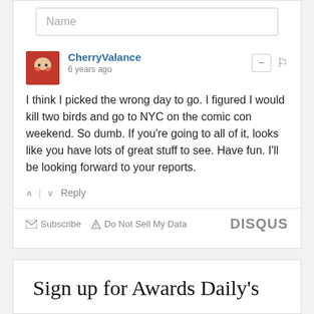Name
CherryValance
6 years ago
I think I picked the wrong day to go. I figured I would kill two birds and go to NYC on the comic con weekend. So dumb. If you're going to all of it, looks like you have lots of great stuff to see. Have fun. I'll be looking forward to your reports.
Subscribe  Do Not Sell My Data
DISQUS
Sign up for Awards Daily's